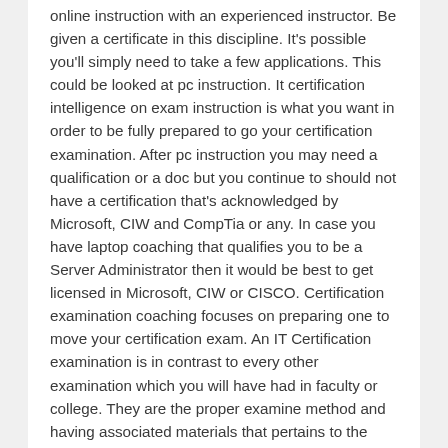online instruction with an experienced instructor. Be given a certificate in this discipline. It's possible you'll simply need to take a few applications. This could be looked at pc instruction. It certification intelligence on exam instruction is what you want in order to be fully prepared to go your certification examination. After pc instruction you may need a qualification or a doc but you continue to should not have a certification that's acknowledged by Microsoft, CIW and CompTia or any. In case you have laptop coaching that qualifies you to be a Server Administrator then it would be best to get licensed in Microsoft, CIW or CISCO. Certification examination coaching focuses on preparing one to move your certification exam. An IT Certification examination is in contrast to every other examination which you will have had in faculty or college. They are the proper examine method and having associated materials that pertains to the actual test that's up to date with all of the market. One can find two essential information to consider when planning for a certification examination. You will discover just a lot of locations on line offering Certification examination training. The explanation I